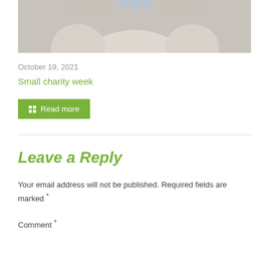[Figure (photo): Partial photo of a person in a light-colored hoodie, bottom portion of face and hands visible, with blue decorative elements at top]
October 19, 2021
Small charity week
Read more
Leave a Reply
Your email address will not be published. Required fields are marked *
Comment *